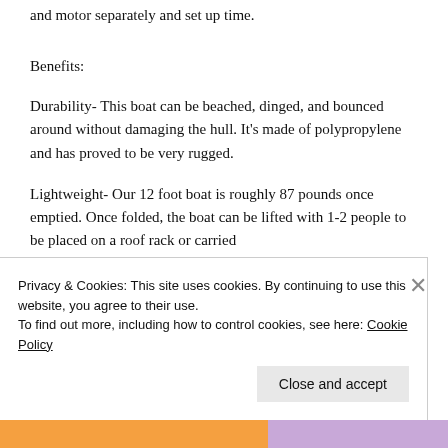and motor separately and set up time.
Benefits:
Durability- This boat can be beached, dinged, and bounced around without damaging the hull. It's made of polypropylene and has proved to be very rugged.
Lightweight- Our 12 foot boat is roughly 87 pounds once emptied. Once folded, the boat can be lifted with 1-2 people to be placed on a roof rack or carried
Privacy & Cookies: This site uses cookies. By continuing to use this website, you agree to their use.
To find out more, including how to control cookies, see here: Cookie Policy
Close and accept